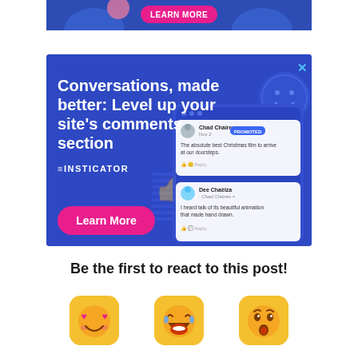[Figure (screenshot): Top partial view of an Insticator-style advertisement banner with blue background and 'Learn More' pink button, partially cropped at top of page.]
[Figure (screenshot): Insticator advertisement: Blue background ad with headline 'Conversations, made better: Level up your site's comments section', Insticator logo, pink 'Learn More' button, and a mockup of comment UI on the right side with a smiley face icon and thumbs up watermark. Has a teal 'X' close button in the top right corner.]
Be the first to react to this post!
[Figure (illustration): Three emoji icons on yellow/golden rounded square backgrounds: a heart-eyes emoji (love), a laughing-with-tears emoji, and a surprised/wow emoji.]